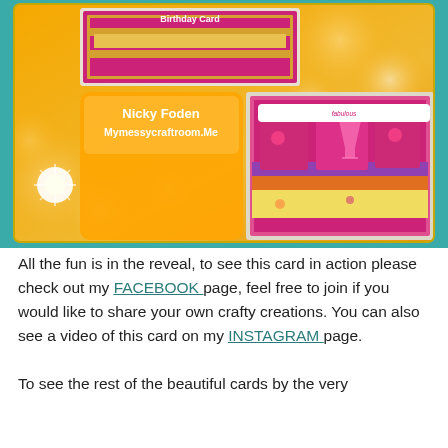[Figure (photo): Collage of handmade birthday cards with tropical and cocktail themes. Shows a 'pop box' style card with layered colorful panels featuring martini glasses, tropical flowers, and a banner reading 'fabulous'. Yellow background with bokeh lighting. Text overlay reads 'Nicky Foden Mymessycraftroom.Me'.]
All the fun is in the reveal, to see this card in action please check out my FACEBOOK page, feel free to join if you would like to share your own crafty creations. You can also see a video of this card on my INSTAGRAM page.
To see the rest of the beautiful cards by the very